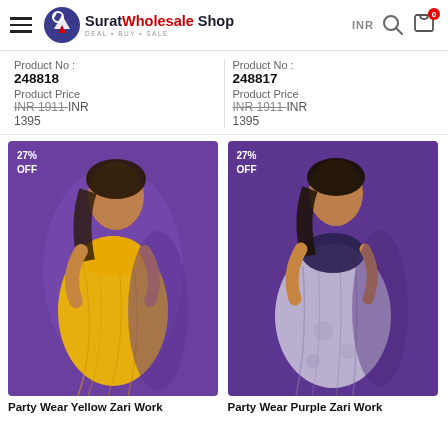Surat Wholesale Shop — DEAL • BUY • SALE
| Product No : | Product Price | Product No : | Product Price |
| --- | --- | --- | --- |
| 248818 | INR 1911 INR 1395 | 248817 | INR 1911 INR 1395 |
[Figure (photo): Woman wearing a yellow sari with Zari work, 27% OFF badge, purple background]
[Figure (photo): Woman wearing a purple/grey Zari work sari, 27% OFF badge, purple background]
Party Wear Yellow Zari Work
Party Wear Purple Zari Work